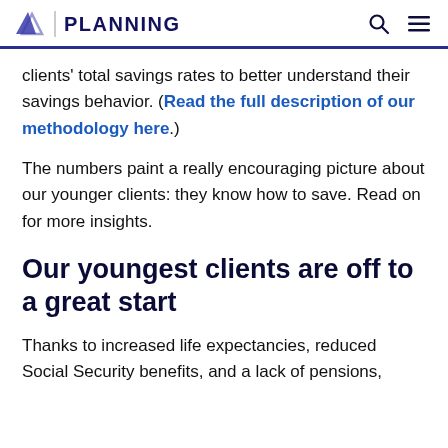PLANNING
clients' total savings rates to better understand their savings behavior. (Read the full description of our methodology here.)
The numbers paint a really encouraging picture about our younger clients: they know how to save. Read on for more insights.
Our youngest clients are off to a great start
Thanks to increased life expectancies, reduced Social Security benefits, and a lack of pensions,